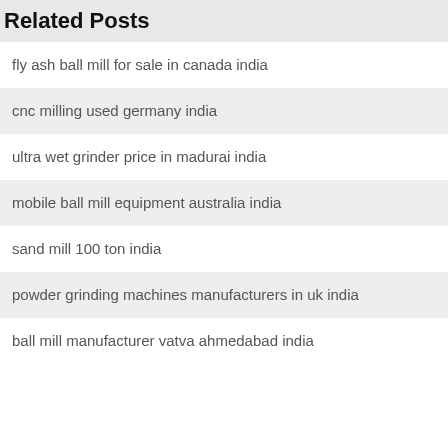Related Posts
fly ash ball mill for sale in canada india
cnc milling used germany india
ultra wet grinder price in madurai india
mobile ball mill equipment australia india
sand mill 100 ton india
powder grinding machines manufacturers in uk india
ball mill manufacturer vatva ahmedabad india